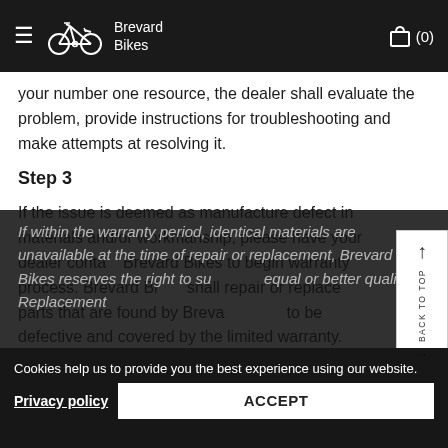Brevard Bikes
your number one resource, the dealer shall evaluate the problem, provide instructions for troubleshooting and make attempts at resolving it.
Step 3
If the issue is deemed as manufacture defect in materials and/or workmanship, please have your dealer contact Brevard Bikes to begin warranty process. Brevard Bikes shall repair or replace parts that are found by Brevard Bikes to be defective and covered by the limited warranty.
If within the warranty period, identical materials are unavailable at the time of repair or replacement, Brevard Bikes reserves the right to substitute equal or better quality. Replacement ...
Cookies help us to provide you the best experience using our website.
Privacy policy   ACCEPT